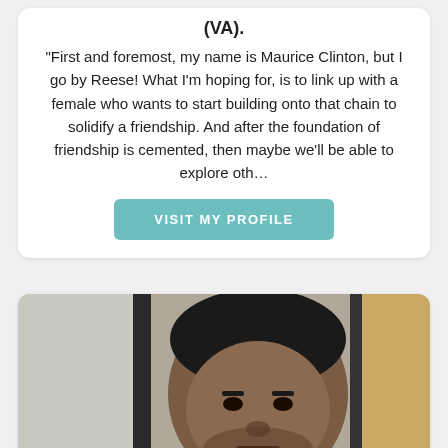(VA).
"First and foremost, my name is Maurice Clinton, but I go by Reese! What I'm hoping for, is to link up with a female who wants to start building onto that chain to solidify a friendship. And after the foundation of friendship is cemented, then maybe we'll be able to explore oth…
VISIT MY PROFILE
[Figure (photo): Portrait photo of a man with short hair, looking directly at the camera. Photo appears to be taken in front of vertical bars.]